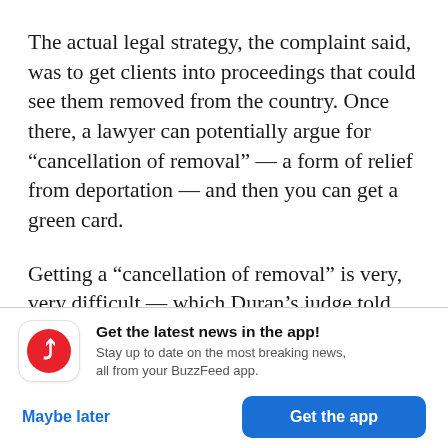The actual legal strategy, the complaint said, was to get clients into proceedings that could see them removed from the country. Once there, a lawyer can potentially argue for “cancellation of removal” — a form of relief from deportation — and then you can get a green card.
Getting a “cancellation of removal” is very, very difficult — which Duran’s judge told her that day in court. About 4,000 of these reliefs are granted each
[Figure (logo): BuzzFeed app promotional banner with red circular BuzzFeed logo icon, bold text 'Get the latest news in the app!', subtext 'Stay up to date on the most breaking news, all from your BuzzFeed app.', and two buttons: 'Maybe later' (blue text) and 'Get the app' (blue button).]